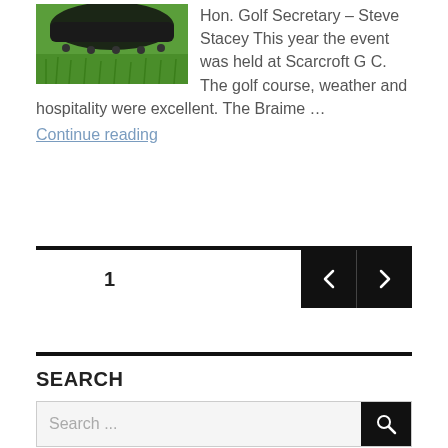[Figure (photo): A golf shoe or cleat resting on green grass, viewed from close up]
Hon. Golf Secretary – Steve Stacey This year the event was held at Scarcroft G C. The golf course, weather and hospitality were excellent.  The Braime …
Continue reading
1
SEARCH
Search ...